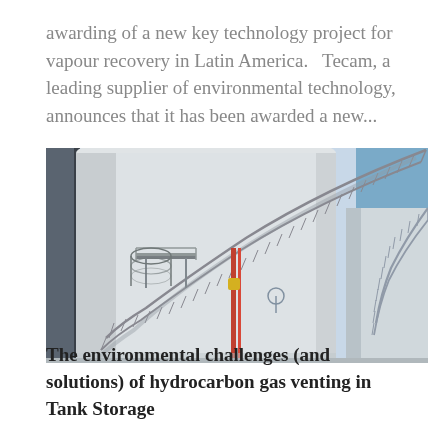awarding of a new key technology project for vapour recovery in Latin America.   Tecam, a leading supplier of environmental technology, announces that it has been awarded a new...
[Figure (photo): Industrial storage tanks with external staircases/catwalks forming an arc shape, photographed against a light blue sky. The tanks are large white cylindrical structures with metal grating stairways.]
The environmental challenges (and solutions) of hydrocarbon gas venting in Tank Storage